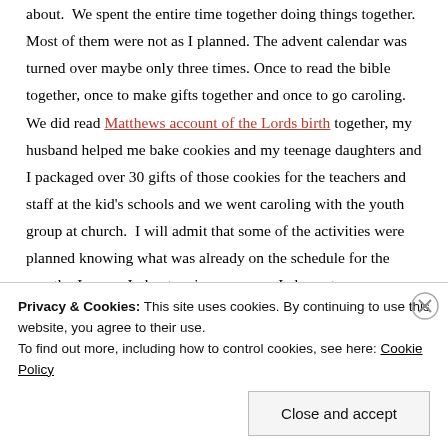about.  We spent the entire time together doing things together. Most of them were not as I planned. The advent calendar was turned over maybe only three times. Once to read the bible together, once to make gifts together and once to go caroling.  We did read Matthews account of the Lords birth together, my husband helped me bake cookies and my teenage daughters and I packaged over 30 gifts of those cookies for the teachers and staff at the kid's schools and we went caroling with the youth group at church.  I will admit that some of the activities were planned knowing what was already on the schedule for the month.  I mean, I plan to win you guys.  I also get
Privacy & Cookies: This site uses cookies. By continuing to use this website, you agree to their use.
To find out more, including how to control cookies, see here: Cookie Policy
Close and accept